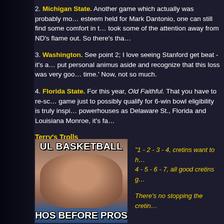2. Michigan State.   Another game which actually was probably more esteem held for Mark Dantonio, one can still find some comfort in t… took some of the attention away from ND's flame out. So there's tha…
3.  Washington.  See point 2;  I love seeing Stanford get beat - it's a put personal animus aside and recognize that this loss was very goo… time.'  Now, not so much.
4.  Florida State.  For this year, Old Faithful.  That you have to re-sc… game just to possibly qualify for 6-win bowl eligibility is truly inspi… powerhouses as Delaware St., Florida and Louisiana Monroe, it's fa…
Terry's Trolls
[Figure (photo): Meme image of a man with wide eyes labeled 'UL BASKETBALL' at top and 'HOS BEFORE PROS' at bottom]
"1 - 2 - 3 - 4, cretins want to h… 4 - 5 - 6 - 7, all good cretins g…

There's no stopping the cretin…